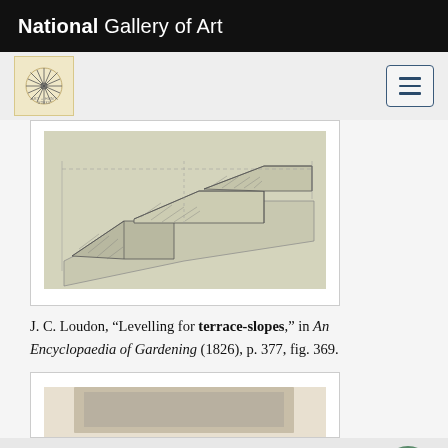National Gallery of Art
[Figure (illustration): Architectural/engineering line drawing showing terrace-slope levelling structures with hatching, multiple geometric forms including stepped and sloped elements.]
J. C. Loudon, “Levelling for terrace-slopes,” in An Encyclopaedia of Gardening (1826), p. 377, fig. 369.
[Figure (photo): Partial view of a second image card at the bottom of the page, showing the top edge of another illustration or photograph.]